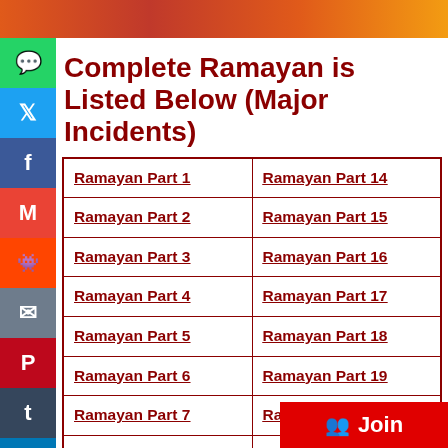[Figure (photo): Top banner image with orange/red temple or festive scene]
Complete Ramayan is Listed Below (Major Incidents)
| Ramayan Part 1 | Ramayan Part 14 |
| Ramayan Part 2 | Ramayan Part 15 |
| Ramayan Part 3 | Ramayan Part 16 |
| Ramayan Part 4 | Ramayan Part 17 |
| Ramayan Part 5 | Ramayan Part 18 |
| Ramayan Part 6 | Ramayan Part 19 |
| Ramayan Part 7 | Ramayan Part 20 |
| Ramayan Part 8 | Ramayan Part 21 |